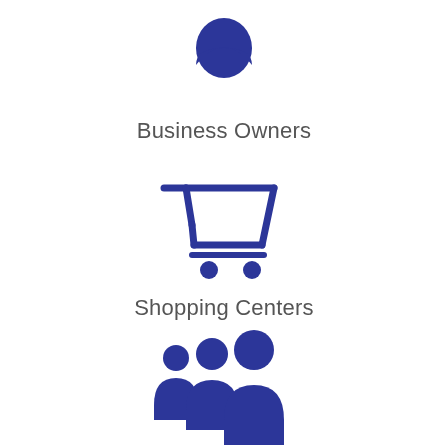[Figure (illustration): Dark blue person/head silhouette icon]
Business Owners
[Figure (illustration): Dark blue shopping cart icon]
Shopping Centers
[Figure (illustration): Dark blue group of three people silhouette icon]